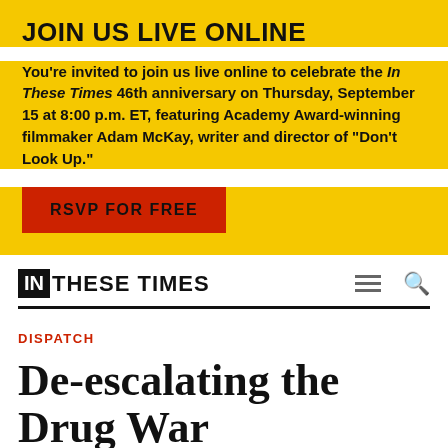JOIN US LIVE ONLINE
You're invited to join us live online to celebrate the In These Times 46th anniversary on Thursday, September 15 at 8:00 p.m. ET, featuring Academy Award-winning filmmaker Adam McKay, writer and director of "Don't Look Up."
RSVP FOR FREE
[Figure (logo): In These Times publication logo with IN in a black box followed by THESE TIMES in bold uppercase text]
DISPATCH
De-escalating the Drug War